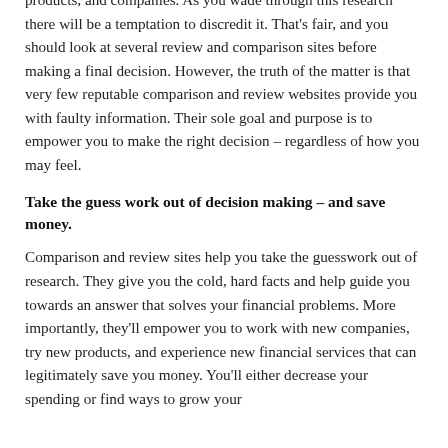products, and companies. As you wade through this research there will be a temptation to discredit it. That's fair, and you should look at several review and comparison sites before making a final decision. However, the truth of the matter is that very few reputable comparison and review websites provide you with faulty information. Their sole goal and purpose is to empower you to make the right decision – regardless of how you may feel.
Take the guess work out of decision making – and save money.
Comparison and review sites help you take the guesswork out of research. They give you the cold, hard facts and help guide you towards an answer that solves your financial problems. More importantly, they'll empower you to work with new companies, try new products, and experience new financial services that can legitimately save you money. You'll either decrease your spending or find ways to grow your